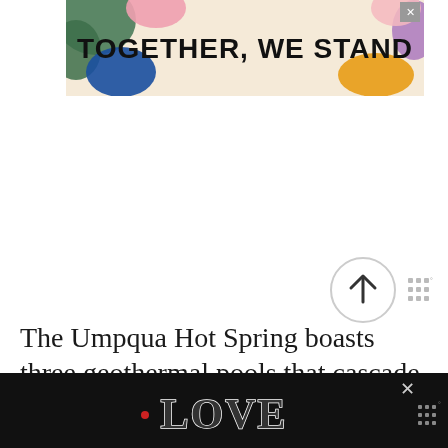[Figure (illustration): Advertisement banner reading 'TOGETHER, WE STAND' in bold black uppercase text on a light cream background with colorful abstract shapes (green, blue, pink, yellow, purple) around the edges. An X close button in the top right corner.]
[Figure (illustration): Circular scroll-to-top button with an upward arrow, gray border, on white background. Next to it is a small stacked lines icon (menu/wordmark).]
The Umpqua Hot Spring boasts three geothermal pools that cascade down the Cliffside Travertine Terrace into the North U...
[Figure (illustration): Bottom advertisement banner on black background showing decorative 'LOVE' text with intricate black-and-white illustration style lettering, red heart accent on the L. X close button on right side. Small stacked icon on far right.]